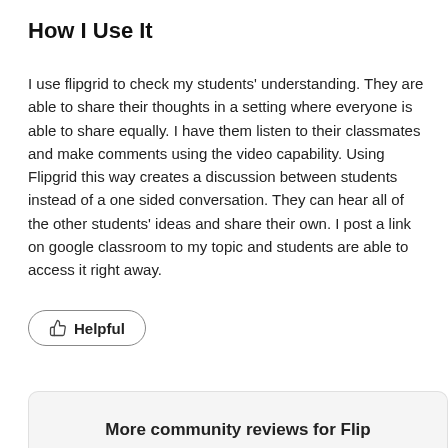How I Use It
I use flipgrid to check my students' understanding. They are able to share their thoughts in a setting where everyone is able to share equally. I have them listen to their classmates and make comments using the video capability. Using Flipgrid this way creates a discussion between students instead of a one sided conversation. They can hear all of the other students' ideas and share their own. I post a link on google classroom to my topic and students are able to access it right away.
Helpful
More community reviews for Flip